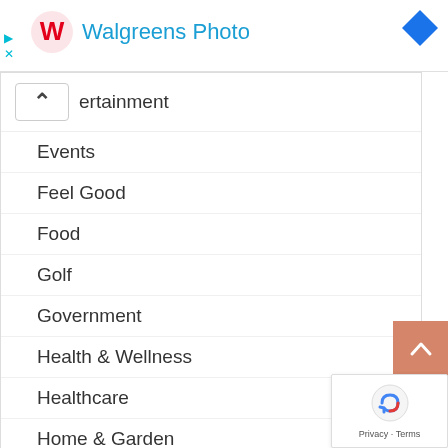[Figure (logo): Walgreens Photo logo with red W icon and blue text, plus blue diamond shape on right]
ertainment
Events
Feel Good
Food
Golf
Government
Health & Wellness
Healthcare
Home & Garden
How To
Hunting
International
KwaZulu-Natal
KZN Roads & Traffic
Legislation
Life & Style